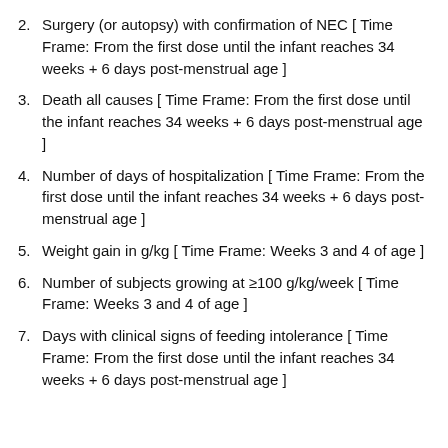Surgery (or autopsy) with confirmation of NEC [ Time Frame: From the first dose until the infant reaches 34 weeks + 6 days post-menstrual age ]
Death all causes [ Time Frame: From the first dose until the infant reaches 34 weeks + 6 days post-menstrual age ]
Number of days of hospitalization [ Time Frame: From the first dose until the infant reaches 34 weeks + 6 days post-menstrual age ]
Weight gain in g/kg [ Time Frame: Weeks 3 and 4 of age ]
Number of subjects growing at ≥100 g/kg/week [ Time Frame: Weeks 3 and 4 of age ]
Days with clinical signs of feeding intolerance [ Time Frame: From the first dose until the infant reaches 34 weeks + 6 days post-menstrual age ]